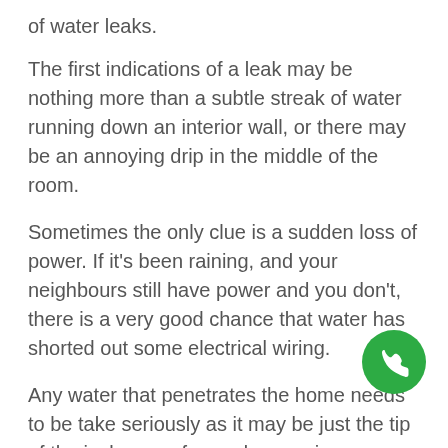of water leaks.
The first indications of a leak may be nothing more than a subtle streak of water running down an interior wall, or there may be an annoying drip in the middle of the room.
Sometimes the only clue is a sudden loss of power. If it’s been raining, and your neighbours still have power and you don’t, there is a very good chance that water has shorted out some electrical wiring.
Any water that penetrates the home needs to be take seriously as it may be just the tip of the iceberg as far as damage is concerned.
What water damage can do to